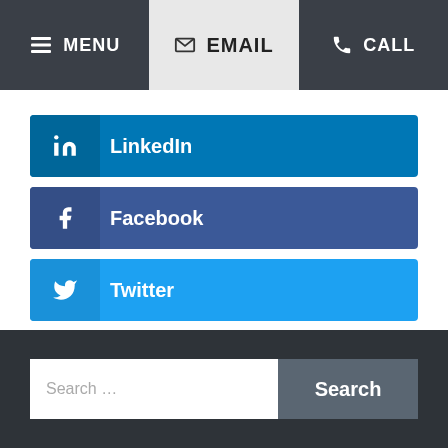MENU | EMAIL | CALL
LinkedIn
Facebook
Twitter
Search …
Search